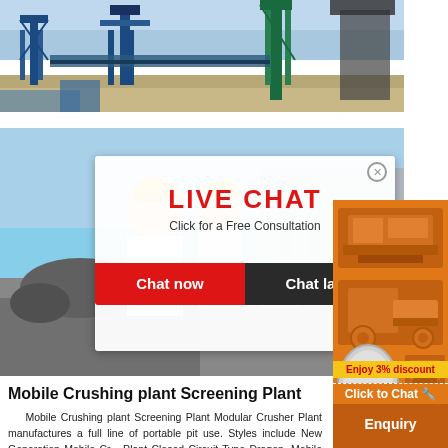[Figure (photo): Industrial crushing plant facility with blue steel structures and conveyor systems against a clear sky]
[Figure (screenshot): Live chat popup overlay on a webpage showing workers in hard hats, with 'LIVE CHAT - Click for a Free Consultation' header and Chat now / Chat later buttons]
[Figure (photo): Orange sidebar with images of crushing/screening machinery and 'Enjoy 3% discount', 'Click to Chat', 'Enquiry' labels]
Mobile Crushing plant Screening Plant
Mobile Crushing plant Screening Plant Modular Crusher Plant manufactures a full line of portable pit use. Styles include New Generation Mobile Cr... Plant Closed Circuit Type Dragon ,Mobile Crushe... New Generation – New Type Turbo, Mobi... Plants,Mobile